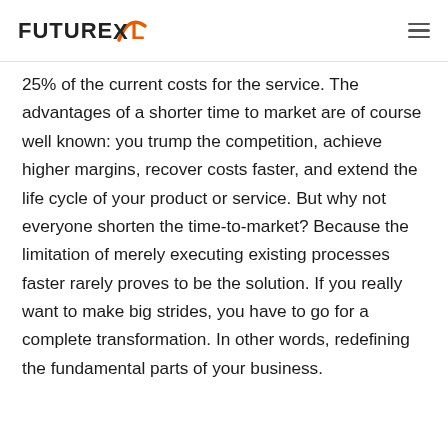FUTUREXL [logo with hamburger menu]
25% of the current costs for the service. The advantages of a shorter time to market are of course well known: you trump the competition, achieve higher margins, recover costs faster, and extend the life cycle of your product or service. But why not everyone shorten the time-to-market? Because the limitation of merely executing existing processes faster rarely proves to be the solution. If you really want to make big strides, you have to go for a complete transformation. In other words, redefining the fundamental parts of your business.